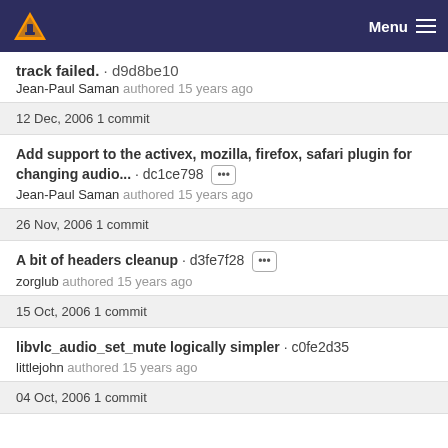Menu
track failed. · d9d8be10 Jean-Paul Saman authored 15 years ago
12 Dec, 2006 1 commit
Add support to the activex, mozilla, firefox, safari plugin for changing audio... · dc1ce798 ••• Jean-Paul Saman authored 15 years ago
26 Nov, 2006 1 commit
A bit of headers cleanup · d3fe7f28 ••• zorglub authored 15 years ago
15 Oct, 2006 1 commit
libvlc_audio_set_mute logically simpler · c0fe2d35 littlejohn authored 15 years ago
04 Oct, 2006 1 commit